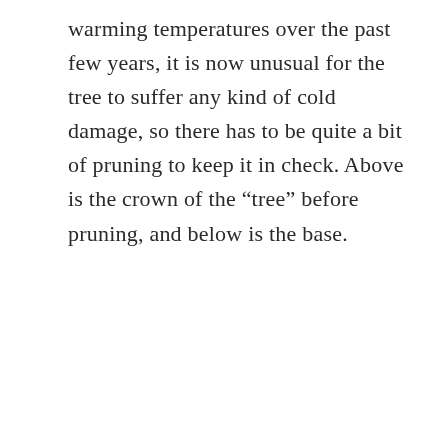warming temperatures over the past few years, it is now unusual for the tree to suffer any kind of cold damage, so there has to be quite a bit of pruning to keep it in check. Above is the crown of the “tree” before pruning, and below is the base.